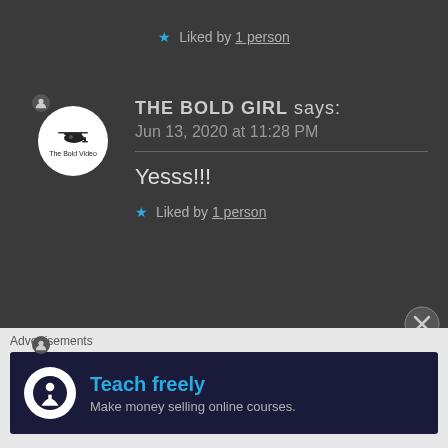★ Liked by 1 person
THE BOLD GIRL says:
Jun 13, 2020 at 11:28 PM
Yesss!!!
★ Liked by 1 person
HARSH says:
Jun 13, 2020 at 11:37 PM
Advertisements
[Figure (infographic): Advertisement banner: dark navy background with white circle icon showing a person/tree symbol, text 'Teach freely' in teal and 'Make money selling online courses.' in grey]